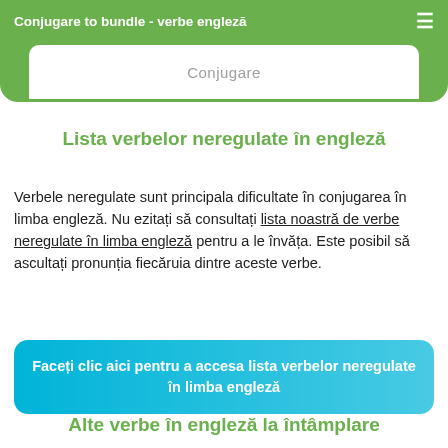Conjugare to bundle - verbe engleză
Conjugare
Lista verbelor neregulate în engleză
Verbele neregulate sunt principala dificultate în conjugarea în limba engleză. Nu ezitați să consultați lista noastră de verbe neregulate în limba engleză pentru a le învăța. Este posibil să ascultați pronunția fiecăruia dintre aceste verbe.
Faceți clic aici pentru a accesa lista verbelor neregulate în limba engleză
Alte verbe în engleză la întâmplare